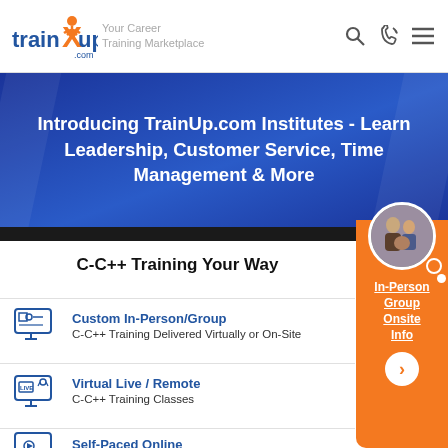trainXup.com — Your Career Training Marketplace
[Figure (illustration): TrainUp.com logo with orange person icon and 'com' subscript, tagline: Your Career Training Marketplace]
Introducing TrainUp.com Institutes - Learn Leadership, Customer Service, Time Management & More
C-C++ Training Your Way
Custom In-Person/Group — C-C++ Training Delivered Virtually or On-Site
Virtual Live / Remote — C-C++ Training Classes
Self-Paced Online — C-C++ Training You Can Take Right Now
[Figure (infographic): Orange sidebar with circular photo of group of people, links: In-Person, Group, Onsite, Info, and an arrow button]